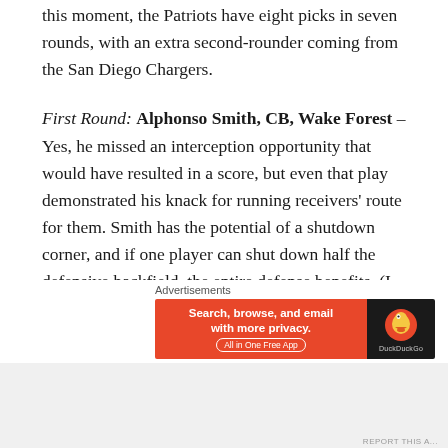this moment, the Patriots have eight picks in seven rounds, with an extra second-rounder coming from the San Diego Chargers.
First Round: Alphonso Smith, CB, Wake Forest – Yes, he missed an interception opportunity that would have resulted in a score, but even that play demonstrated his knack for running receivers' route for them. Smith has the potential of a shutdown corner, and if one player can shut down half the defensive backfield, the entire defense benefits. (I know, I know: groundbreaking stuff.)
[Figure (other): Advertisement banner: DuckDuckGo - Search, browse, and email with more privacy. All in One Free App]